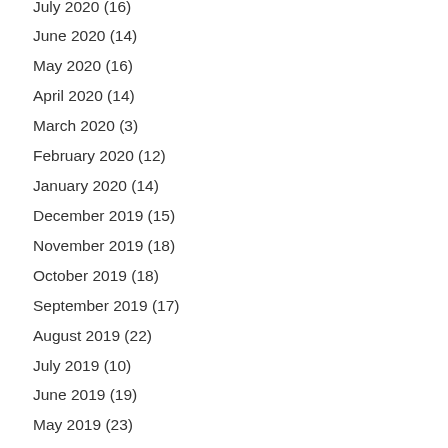July 2020 (16)
June 2020 (14)
May 2020 (16)
April 2020 (14)
March 2020 (3)
February 2020 (12)
January 2020 (14)
December 2019 (15)
November 2019 (18)
October 2019 (18)
September 2019 (17)
August 2019 (22)
July 2019 (10)
June 2019 (19)
May 2019 (23)
April 2019 (30)